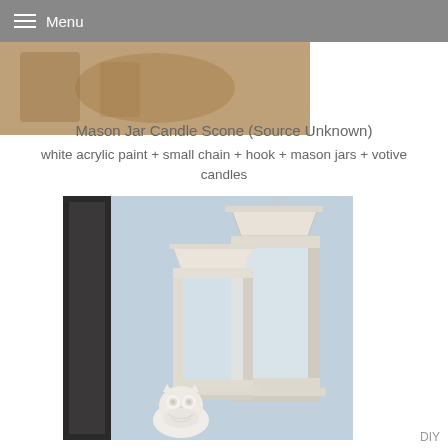Menu
[Figure (photo): Partial top image showing a craft or decorative item, brown/warm tones, cropped at top]
Mason Jar Candle Scone (Source Unknown)
white acrylic paint + small chain + hook + mason jars + votive candles
[Figure (photo): Two white distressed wood lanterns of different heights on a light blue wall, with a small white ceramic owl figurine at the base. Dark door frame visible on left.]
DIY